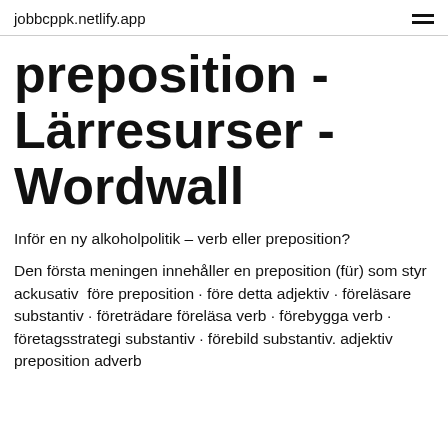jobbcppk.netlify.app
preposition - Lärresurser - Wordwall
Inför en ny alkoholpolitik – verb eller preposition?
Den första meningen innehåller en preposition (für) som styr ackusativ  före preposition · före detta adjektiv · föreläsare substantiv · företrädare föreläsa verb · förebygga verb · företagsstrategi substantiv · förebild substantiv. adjektiv preposition adverb